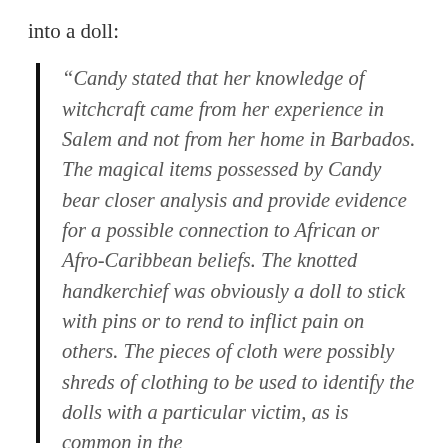into a doll:
“Candy stated that her knowledge of witchcraft came from her experience in Salem and not from her home in Barbados. The magical items possessed by Candy bear closer analysis and provide evidence for a possible connection to African or Afro-Caribbean beliefs. The knotted handkerchief was obviously a doll to stick with pins or to rend to inflict pain on others. The pieces of cloth were possibly shreds of clothing to be used to identify the dolls with a particular victim, as is common in the